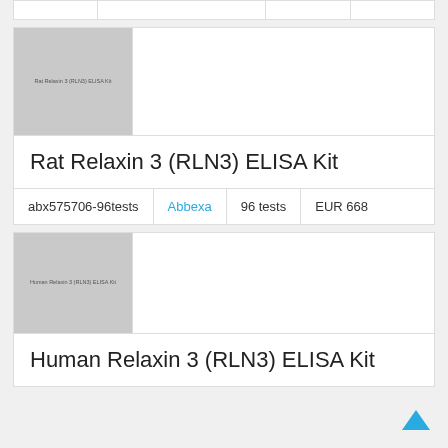|  |  |  |  |
| --- | --- | --- | --- |
|   |   |   |   |
[Figure (photo): Gray placeholder image for Rat Relaxin 3 (RLN3) ELISA Kit product]
Rat Relaxin 3 (RLN3) ELISA Kit
| abx575706-96tests | Abbexa | 96 tests | EUR 668 |
| --- | --- | --- | --- |
[Figure (photo): Gray placeholder image for Human Relaxin 3 (RLN3) ELISA Kit product]
Human Relaxin 3 (RLN3) ELISA Kit